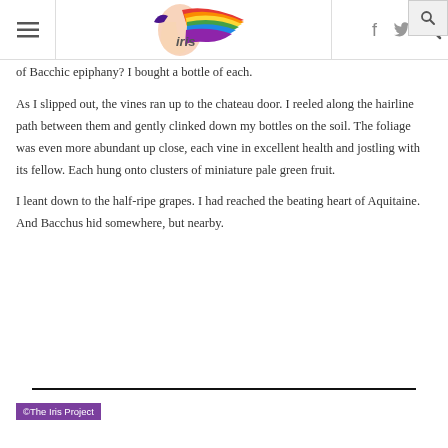iris — navigation header with logo, social icons, and search
of Bacchic epiphany? I bought a bottle of each.
As I slipped out, the vines ran up to the chateau door. I reeled along the hairline path between them and gently clinked down my bottles on the soil. The foliage was even more abundant up close, each vine in excellent health and jostling with its fellow. Each hung onto clusters of miniature pale green fruit.
I leant down to the half-ripe grapes. I had reached the beating heart of Aquitaine. And Bacchus hid somewhere, but nearby.
©The Iris Project